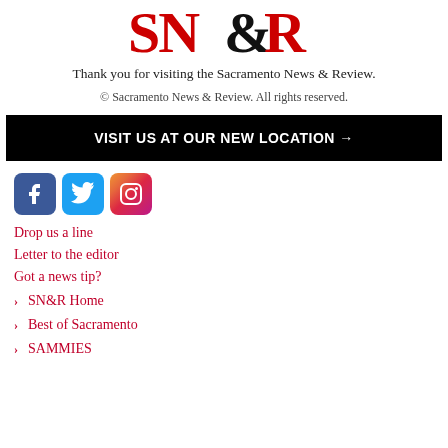[Figure (logo): SN&R logo in red and black serif lettering]
Thank you for visiting the Sacramento News & Review.
© Sacramento News & Review. All rights reserved.
VISIT US AT OUR NEW LOCATION →
[Figure (illustration): Social media icons: Facebook (blue), Twitter (light blue), Instagram (gradient pink/purple)]
Drop us a line
Letter to the editor
Got a news tip?
› SN&R Home
› Best of Sacramento
› SAMMIES